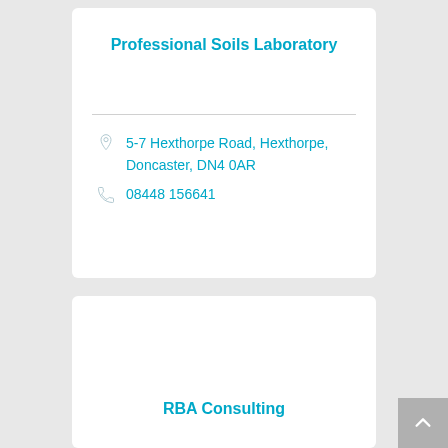Professional Soils Laboratory
5-7 Hexthorpe Road, Hexthorpe, Doncaster, DN4 0AR
08448 156641
RBA Consulting